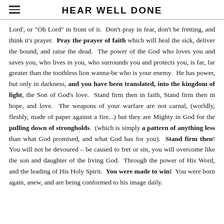HEAR WELL DONE
Lord', or "Oh Lord" in front of it.  Don't pray in fear, don't be fretting, and think it's prayer.  Pray the prayer of faith which will heal the sick, deliver the bound, and raise the dead.  The power of the God who loves you and saves you, who lives in you, who surrounds you and protects you, is far, far greater than the toothless lion wanna-be who is your enemy.  He has power, but only in darkness, and you have been translated, into the kingdom of light, the Son of God's love.  Stand firm then in faith, Stand firm then in hope, and love.  The weapons of your warfare are not carnal, (worldly, fleshly, made of paper against a fire...) but they are Mighty in God for the pulling down of strongholds.  (which is simply a pattern of anything less than what God promised, and what God has for you).  Stand firm then!  You will not be devoured – be caused to fret or sin, you will overcome like the son and daughter of the living God.  Through the power of His Word, and the leading of His Holy Spirit.  You were made to win!  You were born again, anew, and are being conformed to his image daily.